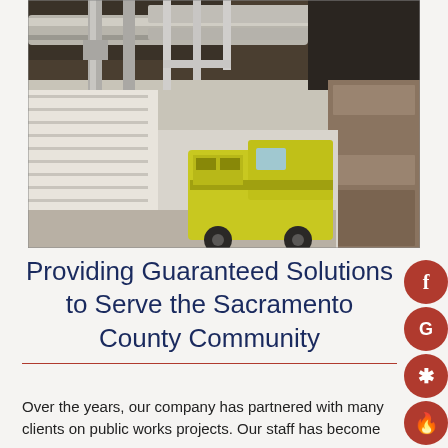[Figure (photo): Interior of a commercial/industrial building with exposed ductwork, pipes on the ceiling, and a fire truck or yellow/green emergency vehicle visible in the background.]
Providing Guaranteed Solutions to Serve the Sacramento County Community
Over the years, our company has partnered with many clients on public works projects. Our staff has become